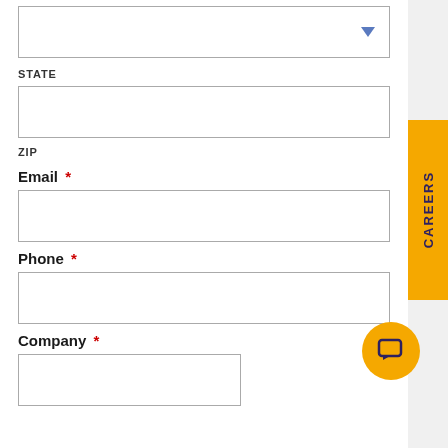[Figure (screenshot): Dropdown input box with blue chevron arrow on the right]
STATE
[Figure (screenshot): Empty text input box for State field]
ZIP
Email *
[Figure (screenshot): Empty text input box for Email field]
Phone *
[Figure (screenshot): Empty text input box for Phone field with chat bubble icon overlapping bottom right]
Company *
[Figure (screenshot): Partial text input box for Company field (approximately 60% width)]
[Figure (other): Yellow CAREERS vertical tab on the right side of the page]
[Figure (other): Yellow circular chat bubble icon with speech bubble symbol in dark navy]